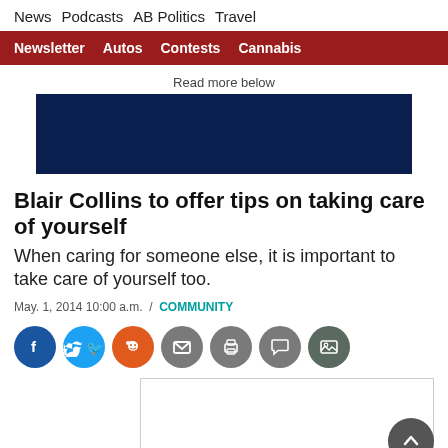News  Podcasts  AB Politics  Travel
Newsletter  Autos  Contests  Cannabis
Read more below
[Figure (other): Dark navy blue advertisement banner placeholder]
Blair Collins to offer tips on taking care of yourself
When caring for someone else, it is important to take care of yourself too.
May. 1, 2014 10:00 a.m.  /  COMMUNITY
[Figure (other): Social sharing icons: Facebook, Twitter, Reddit, Email, Print, Comment, Image]
[Figure (other): Small content box / image placeholder]